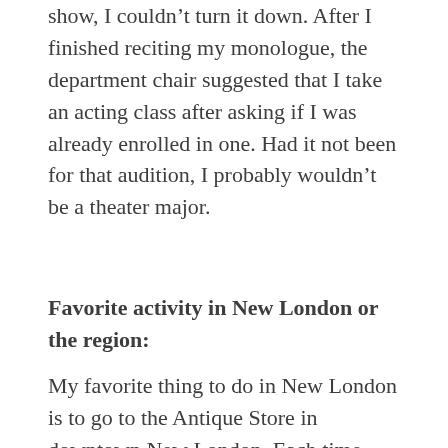show, I couldn't turn it down. After I finished reciting my monologue, the department chair suggested that I take an acting class after asking if I was already enrolled in one. Had it not been for that audition, I probably wouldn't be a theater major.
Favorite activity in New London or the region:
My favorite thing to do in New London is to go to the Antique Store in downtown New London. Each time I've gone there, I've spent at